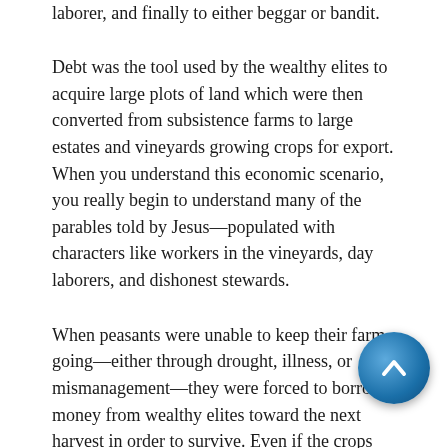laborer, and finally to either beggar or bandit.
Debt was the tool used by the wealthy elites to acquire large plots of land which were then converted from subsistence farms to large estates and vineyards growing crops for export. When you understand this economic scenario, you really begin to understand many of the parables told by Jesus—populated with characters like workers in the vineyards, day laborers, and dishonest stewards.
When peasants were unable to keep their farm going—either through drought, illness, or mismanagement—they were forced to borrow money from wealthy elites toward the next harvest in order to survive. Even if the crops failed, they had to pay taxes and tithes. That often required cash, not crops. If they could not pay their debts, their land was foreclosed and taken from them. Debt was a big deal for the peasant class. It is revealed in the prayer Jesus taught his disciples. "Forgive us our